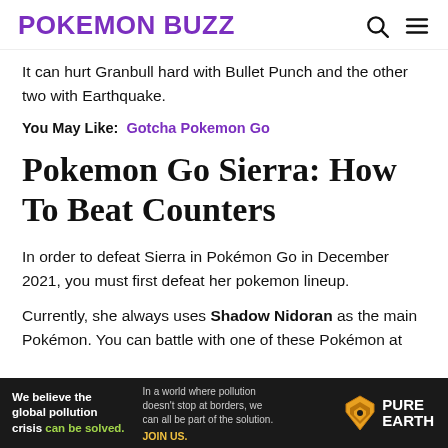POKEMON BUZZ
It can hurt Granbull hard with Bullet Punch and the other two with Earthquake.
You May Like:  Gotcha Pokemon Go
Pokemon Go Sierra: How To Beat Counters
In order to defeat Sierra in Pokémon Go in December 2021, you must first defeat her pokemon lineup.
Currently, she always uses Shadow Nidoran as the main Pokémon. You can battle with one of these Pokémon at
[Figure (other): Pure Earth advertisement banner: dark background with text 'We believe the global pollution crisis can be solved.' and 'PURE EARTH' logo with diamond/leaf icon]